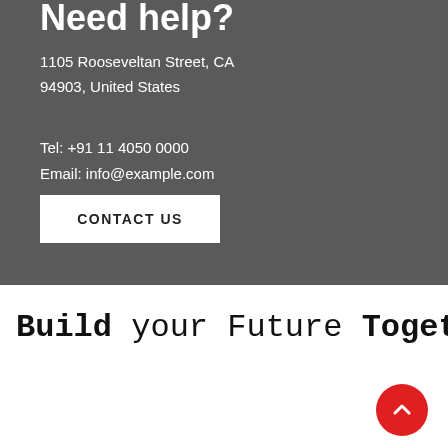1105 Rooseveltan Street, CA
94903, United States
Tel: +91 11 4050 0000
Email: info@example.com
CONTACT US
Build your Future Together
[Figure (illustration): Red circular back-to-top button with upward chevron arrow]